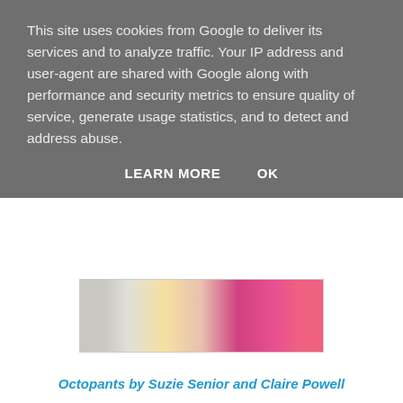This site uses cookies from Google to deliver its services and to analyze traffic. Your IP address and user-agent are shared with Google along with performance and security metrics to ensure quality of service, generate usage statistics, and to detect and address abuse.
LEARN MORE    OK
[Figure (photo): Partial view of a colorful book cover with bright colors including pink, yellow, and red]
Octopants by Suzie Senior and Claire Powell
Iris is very into silliness at the moment so a book about underpants was definitely going to impress her. It's a story about a  friendly octopus that wants to find some pants but due to his extraordinary amount of legs no 'normal' pants fit but maybe he's been looking at it all wrong? Maybe finding something to fit takes a change of perspective? This is a great book about learning to accept your differences and finding your place whilst remaining true to yourself. We actually got sent this book from pre-school in a Bookstart